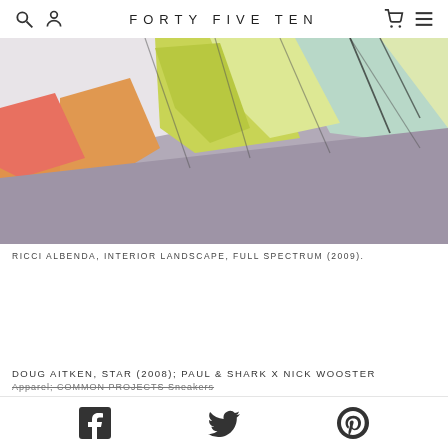FORTY FIVE TEN
[Figure (photo): A close-up photograph of a colorful geometric installation artwork by Ricci Albenda titled Interior Landscape, Full Spectrum (2009). The installation features angled panels in pastel colors including lavender/grey, mint green, yellow-green, pale yellow, and orange against a white wall.]
RICCI ALBENDA, INTERIOR LANDSCAPE, FULL SPECTRUM (2009).
DOUG AITKEN, STAR (2008); PAUL & SHARK X NICK WOOSTER
Apparel; COMMON PROJECTS Sneakers
Facebook | Twitter | Pinterest